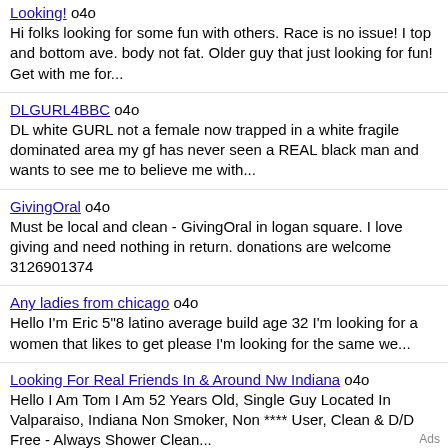Looking! o4o
Hi folks looking for some fun with others. Race is no issue! I top and bottom ave. body not fat. Older guy that just looking for fun! Get with me for...
DLGURL4BBC o4o
DL white GURL not a female now trapped in a white fragile dominated area my gf has never seen a REAL black man and wants to see me to believe me with...
GivingOral o4o
Must be local and clean - GivingOral in logan square. I love giving and need nothing in return. donations are welcome 3126901374
Any ladies from chicago o4o
Hello I'm Eric 5"8 latino average build age 32 I'm looking for a women that likes to get please I'm looking for the same we...
Looking For Real Friends In & Around Nw Indiana o4o
Hello I Am Tom I Am 52 Years Old, Single Guy Located In Valparaiso, Indiana Non Smoker, Non **** User, Clean & D/D Free - Always Shower Clean...
online **** (F4M) o4o
32F looking to have some fun over phone with someone. Fill in some lonely void.
Online Personals No Charge to P...
Ads